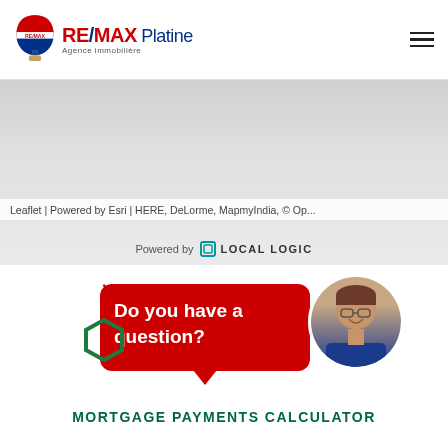[Figure (logo): RE/MAX Platine Agence immobilière logo with hot air balloon icon]
[Figure (screenshot): Map screenshot (greyed out) with Leaflet/Esri attribution and Local Logic branding]
Leaflet | Powered by Esri | HERE, DeLorme, MapmyIndia, © Op...
Powered by LOCAL LOGIC
[Figure (illustration): Red speech bubble with 'Do you have a question?' text, green hexagon icon, and agent photo]
MORTGAGE PAYMENTS CALCULATOR